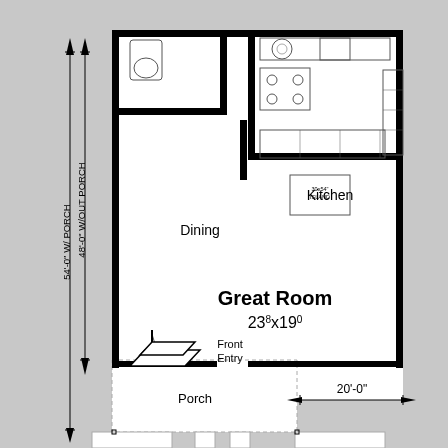[Figure (engineering-diagram): Floor plan showing Great Room (23'x19'), Dining area, Kitchen with island (30x54 ISLAND), Front Entry with stairs, and Porch. Dimension annotations: 48'-0" W/OUT PORCH, 54'-0" W/ PORCH on the left side, and 20'-0" width dimension at the bottom right.]